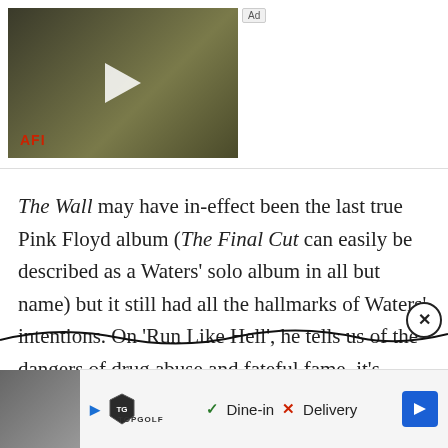[Figure (screenshot): Video thumbnail showing two people in a scene, with a white play button in the center, AFI label in red at bottom left, and Ad badge at top right]
The Wall may have in-effect been the last true Pink Floyd album (The Final Cut can easily be described as a Waters' solo album in all but name) but it still had all the hallmarks of Waters' intentions. On 'Run Like Hell', he tells us of the dangers of drug abuse and fateful fame, it's another cry for help and one that is one of Waters' best.
[Figure (screenshot): Advertisement banner with Topgolf logo, checkmark Dine-in, X Delivery, and a blue navigation arrow on the right]